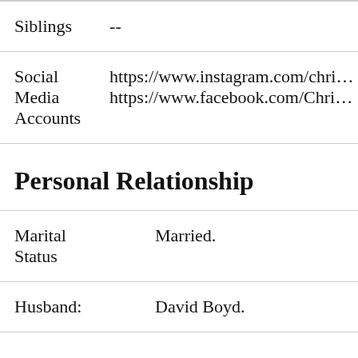| Siblings | -- |
| Social
Media
Accounts | https://www.instagram.com/chri...
https://www.facebook.com/Chri... |
Personal Relationship
| Marital
Status | Married. |
| Husband: | David Boyd. |